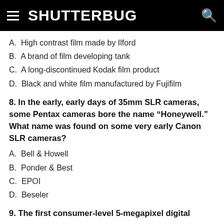SHUTTERBUG
A.  High contrast film made by Ilford
B.  A brand of film developing tank
C.  A long-discontinued Kodak film product
D.  Black and white film manufactured by Fujifilm
8. In the early, early days of 35mm SLR cameras, some Pentax cameras bore the name “Honeywell.” What name was found on some very early Canon SLR cameras?
A.  Bell & Howell
B.  Ponder & Best
C.  EPOI
D.  Beseler
9. The first consumer-level 5-megapixel digital